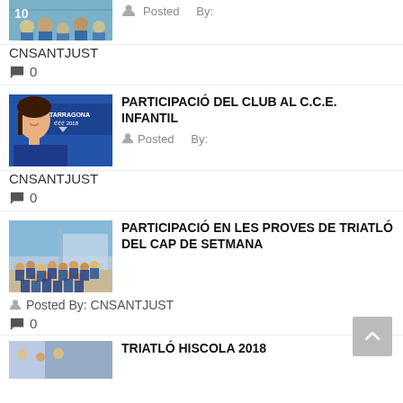[Figure (photo): Partial top photo of group of children]
Posted By: CNSANTJUST
0 comments
[Figure (photo): Photo of a young woman in front of a Tarragona 2018 banner]
PARTICIPACIÓ DEL CLUB AL C.C.E. INFANTIL
Posted By: CNSANTJUST
0 comments
[Figure (photo): Group photo of young athletes outdoors]
PARTICIPACIÓ EN LES PROVES DE TRIATLÓ DEL CAP DE SETMANA
Posted By: CNSANTJUST
0 comments
[Figure (photo): Partial bottom photo, cut off]
TRIATLÓ HISCOLA 2018